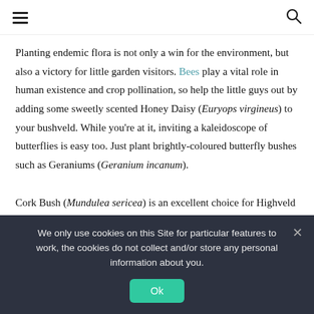≡  🔍
Planting endemic flora is not only a win for the environment, but also a victory for little garden visitors. Bees play a vital role in human existence and crop pollination, so help the little guys out by adding some sweetly scented Honey Daisy (Euryops virgineus) to your bushveld. While you're at it, inviting a kaleidoscope of butterflies is easy too. Just plant brightly-coloured butterfly bushes such as Geraniums (Geranium incanum).

Cork Bush (Mundulea sericea) is an excellent choice for Highveld naturescaping with purple flowers providing food for multiple
We only use cookies on this Site for particular features to work, the cookies do not collect and/or store any personal information about you.